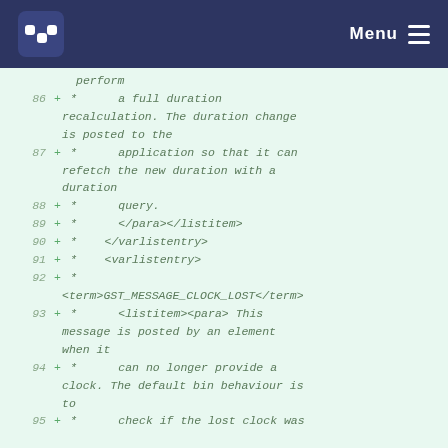Menu
[Figure (screenshot): Code diff view showing lines 86-95 of a source file with added lines (marked with +) containing XML documentation comments about GST_MESSAGE_CLOCK_LOST and duration recalculation]
86 + *      a full duration recalculation. The duration change is posted to the
87 + *      application so that it can refetch the new duration with a duration
88 + *      query.
89 + *      </para></listitem>
90 + *   </varlistentry>
91 + *   <varlistentry>
92 + *
         <term>GST_MESSAGE_CLOCK_LOST</term>
93 + *      <listitem><para> This message is posted by an element when it
94 + *      can no longer provide a clock. The default bin behaviour is to
95 + *      check if the lost clock was